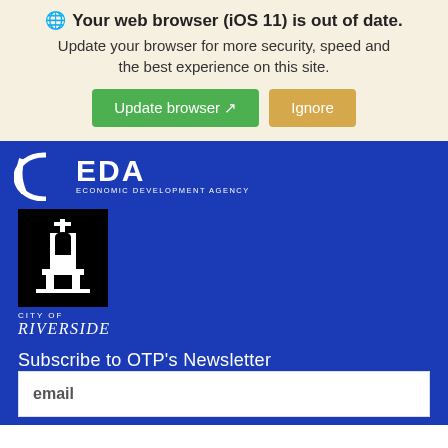Your web browser (iOS 11) is out of date. Update your browser for more security, speed and the best experience on this site.
Update browser   Ignore
[Figure (logo): EDA Economic Development Agency logo with white arc and text on blue background]
[Figure (logo): City of Riverside logo: black box with white bell tower icon, text CITY OF RIVERSIDE below]
Subscribe to OTP's Newsletter
email